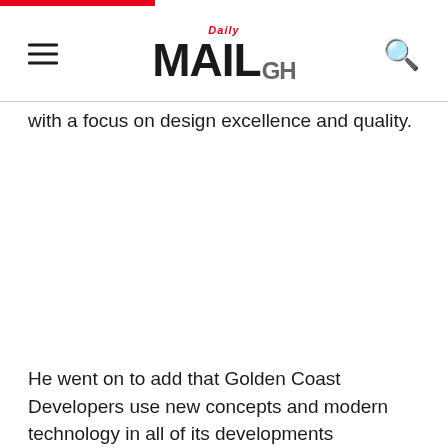Daily MAIL GH
with a focus on design excellence and quality.
He went on to add that Golden Coast Developers use new concepts and modern technology in all of its developments